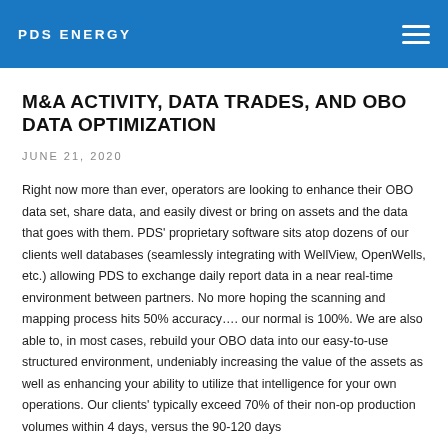PDS ENERGY
M&A ACTIVITY, DATA TRADES, AND OBO DATA OPTIMIZATION
JUNE 21, 2020
Right now more than ever, operators are looking to enhance their OBO data set, share data, and easily divest or bring on assets and the data that goes with them. PDS' proprietary software sits atop dozens of our clients well databases (seamlessly integrating with WellView, OpenWells, etc.) allowing PDS to exchange daily report data in a near real-time environment between partners. No more hoping the scanning and mapping process hits 50% accuracy…. our normal is 100%. We are also able to, in most cases, rebuild your OBO data into our easy-to-use structured environment, undeniably increasing the value of the assets as well as enhancing your ability to utilize that intelligence for your own operations. Our clients' typically exceed 70% of their non-op production volumes within 4 days, versus the 90-120 days